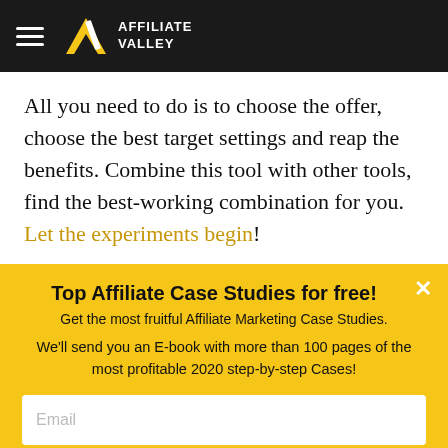AFFILIATE VALLEY
All you need to do is to choose the offer, choose the best target settings and reap the benefits. Combine this tool with other tools, find the best-working combination for you. Let the experiments begin!
Share the article
Top Affiliate Case Studies for free!
Get the most fruitful Affiliate Marketing Case Studies.
We'll send you an E-book with more than 100 pages of the most profitable 2020 step-by-step Cases!
Email
GET THAT CASES!